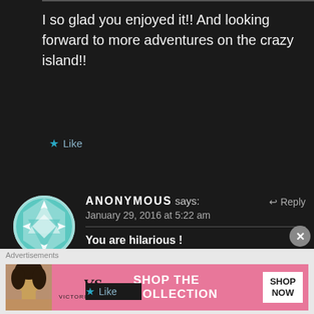I so glad you enjoyed it!! And looking forward to more adventures on the crazy island!!
Like
ANONYMOUS says:   January 29, 2016 at 5:22 am   Reply
You are hilarious !
Like
[Figure (other): Advertisement banner for Victoria's Secret showing a model, VS logo, text SHOP THE COLLECTION, and SHOP NOW button]
Advertisements